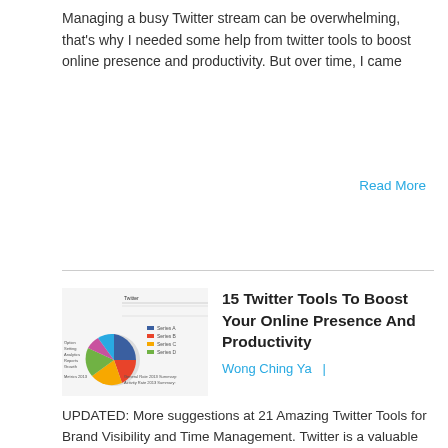Managing a busy Twitter stream can be overwhelming, that's why I needed some help from twitter tools to boost online presence and productivity. But over time, I came
Read More
[Figure (screenshot): Thumbnail image with a blue TWITTER badge overlaid on top-left and a pie chart visible in the lower portion]
15 Twitter Tools To Boost Your Online Presence And Productivity
Wong Ching Ya  |
UPDATED: More suggestions at 21 Amazing Twitter Tools for Brand Visibility and Time Management. Twitter is a valuable source of news updates. Without proper management, it can be
Read More